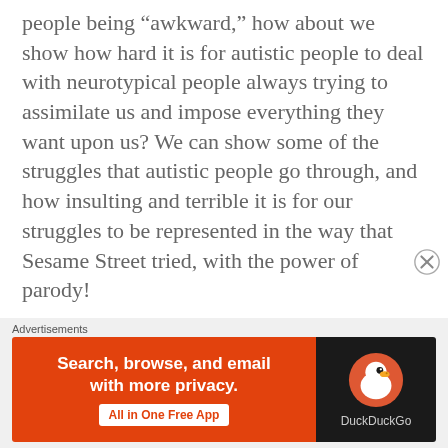people being “awkward,” how about we show how hard it is for autistic people to deal with neurotypical people always trying to assimilate us and impose everything they want upon us? We can show some of the struggles that autistic people go through, and how insulting and terrible it is for our struggles to be represented in the way that Sesame Street tried, with the power of parody!

Like this example from my own life, turned into a parody: I’d just be minding my own business, reading a book, drawing, surfing
Advertisements
[Figure (infographic): DuckDuckGo advertisement banner. Orange background on left with white bold text: 'Search, browse, and email with more privacy.' and a white button reading 'All in One Free App'. Right side has dark background with DuckDuckGo duck logo and 'DuckDuckGo' text.]